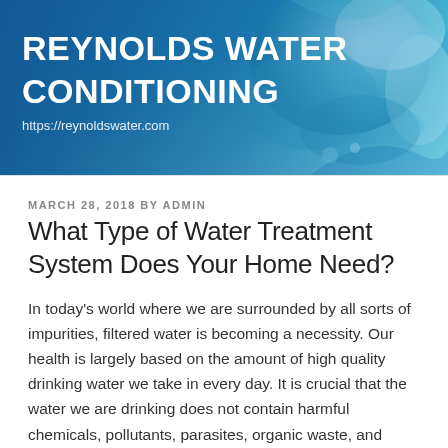[Figure (other): Reynolds Water Conditioning website header banner with blue water splash background, site title and URL]
REYNOLDS WATER CONDITIONING
https://reynoldswater.com
MARCH 28, 2018 BY ADMIN
What Type of Water Treatment System Does Your Home Need?
In today's world where we are surrounded by all sorts of impurities, filtered water is becoming a necessity. Our health is largely based on the amount of high quality drinking water we take in every day. It is crucial that the water we are drinking does not contain harmful chemicals, pollutants, parasites, organic waste, and other imperfections.   There are several ways that one can go about procuring drinking water such as buying bottled